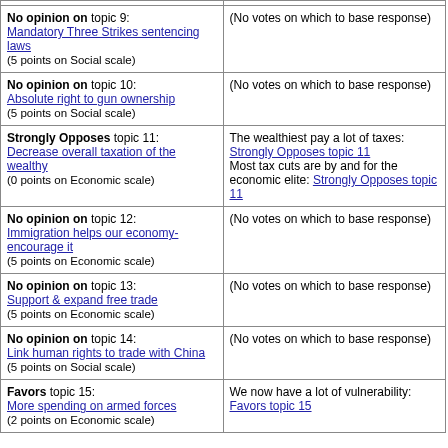| Position | Rationale |
| --- | --- |
| No opinion on topic 9: Mandatory Three Strikes sentencing laws (5 points on Social scale) | (No votes on which to base response) |
| No opinion on topic 10: Absolute right to gun ownership (5 points on Social scale) | (No votes on which to base response) |
| Strongly Opposes topic 11: Decrease overall taxation of the wealthy (0 points on Economic scale) | The wealthiest pay a lot of taxes: Strongly Opposes topic 11
Most tax cuts are by and for the economic elite: Strongly Opposes topic 11 |
| No opinion on topic 12: Immigration helps our economy-encourage it (5 points on Economic scale) | (No votes on which to base response) |
| No opinion on topic 13: Support & expand free trade (5 points on Economic scale) | (No votes on which to base response) |
| No opinion on topic 14: Link human rights to trade with China (5 points on Social scale) | (No votes on which to base response) |
| Favors topic 15: More spending on armed forces (2 points on Economic scale) | We now have a lot of vulnerability: Favors topic 15 |